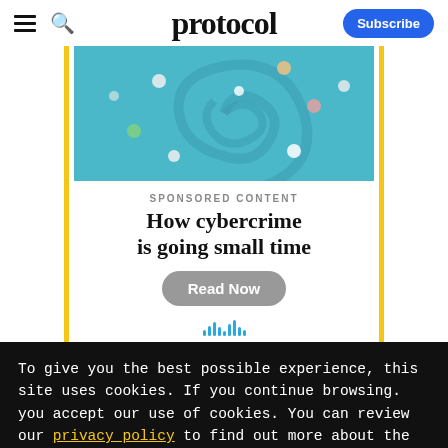protocol
[Figure (photo): Aerial view of people in a swimming pool with a fingerprint-like swirl pattern visible on the pool floor, turquoise water.]
SPONSORED CONTENT
How cybercrime is going small time
Read Now
To give you the best possible experience, this site uses cookies. If you continue browsing. you accept our use of cookies. You can review our privacy policy to find out more about the cookies we use.
Accept